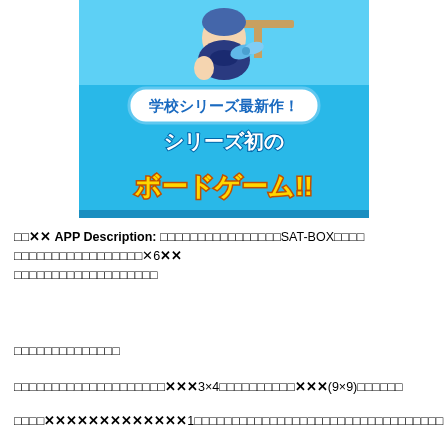[Figure (illustration): Anime-style illustration of a school student in navy uniform with blue bow, sitting at a desk, with Japanese text reading 学校シリーズ最新作！シリーズ初のボードゲーム!! on a blue background]
□□✕✕ APP Description: □□□□□□□□□□□□□□□□SAT-BOX□□□□□□□□□□□□□□□□□□□□✕6✕✕
□□□□□□□□□□□□□□□□□□□
□□□□□□□□□□□□□□
□□□□□□□□□□□□□□□□□□□□✕✕✕3×4□□□□□□□□□□✕✕✕(9×9)□□□□□□
□□□□✕✕✕✕✕✕✕✕✕✕✕✕✕1□□□□□□□□□□□□□□□□□□□□□□□□□□□□□□□□□